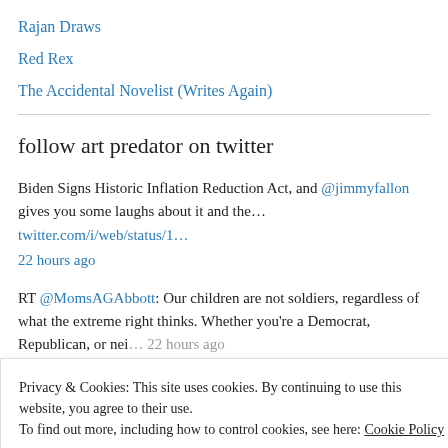Rajan Draws
Red Rex
The Accidental Novelist (Writes Again)
follow art predator on twitter
Biden Signs Historic Inflation Reduction Act, and @jimmyfallon gives you some laughs about it and the… twitter.com/i/web/status/1…
22 hours ago
RT @MomsAGAbbott: Our children are not soldiers, regardless of what the extreme right thinks. Whether you're a Democrat, Republican, or nei… 22 hours ago
Privacy & Cookies: This site uses cookies. By continuing to use this website, you agree to their use.
To find out more, including how to control cookies, see here: Cookie Policy
than the principles that we are all sworn to protect," Representative…